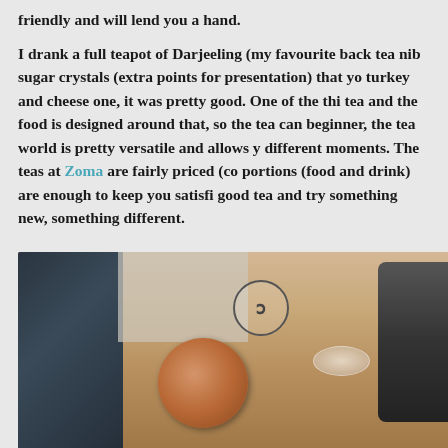friendly and will lend you a hand.

I drank a full teapot of Darjeeling (my favourite back tea) with nib sugar crystals (extra points for presentation) that you... turkey and cheese one, it was pretty good. One of the thi... tea and the food is designed around that, so the tea can... beginner, the tea world is pretty versatile and allows y... different moments. The teas at Zoma are fairly priced (co... portions (food and drink) are enough to keep you satisfi... good tea and try something new, something different.
[Figure (photo): Overhead view of a wooden table with a glass teacup filled with amber-colored tea, a small glass saucer, and a dark teapot on the right. A decorative tile wall and dark surface are visible in the background. A circular logo/watermark is visible on the table.]